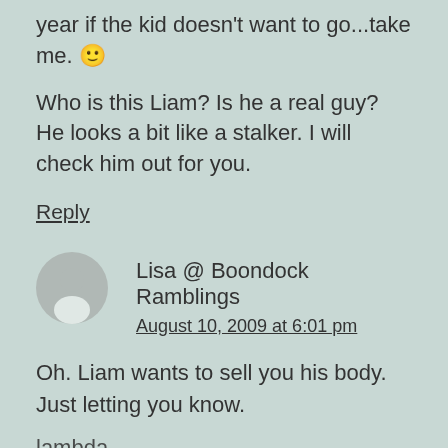year if the kid doesn't want to go…take me. 🙂
Who is this Liam? Is he a real guy? He looks a bit like a stalker. I will check him out for you.
Reply
Lisa @ Boondock Ramblings
August 10, 2009 at 6:01 pm
Oh. Liam wants to sell you his body. Just letting you know.
lambda...